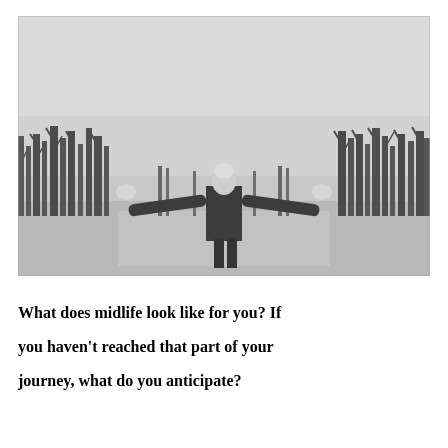[Figure (photo): Black and white photograph of a person from behind, wearing a dark jacket and white hat, standing with arms outstretched in a snow-covered park with bare winter trees lining both sides and a misty grey sky.]
What does midlife look like for you? If you haven't reached that part of your journey, what do you anticipate?